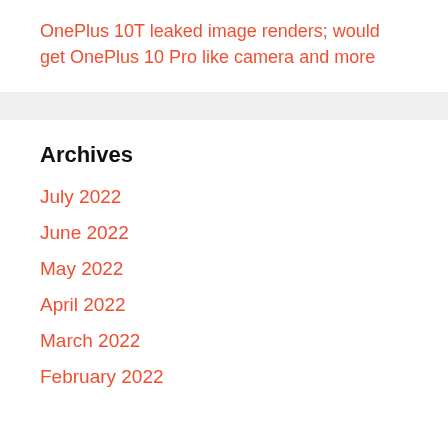OnePlus 10T leaked image renders; would get OnePlus 10 Pro like camera and more
Archives
July 2022
June 2022
May 2022
April 2022
March 2022
February 2022